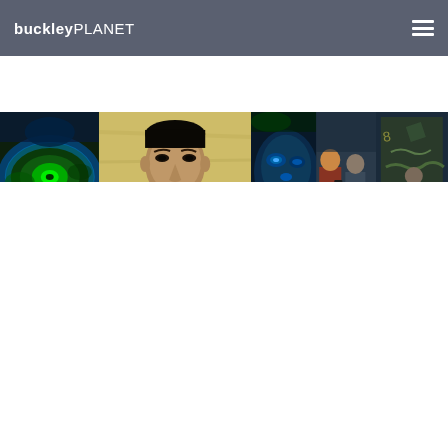buckleyPLANET
[Figure (photo): Horizontal banner strip showing four panels: (1) a neon thermal-colored close-up of an eye in blue and green tones, (2) a sepia/yellow-tinted portrait of a man facing the camera, (3) a thermal blue-green face close-up with two people in the background, (4) a person near graffiti wall in blue tones]